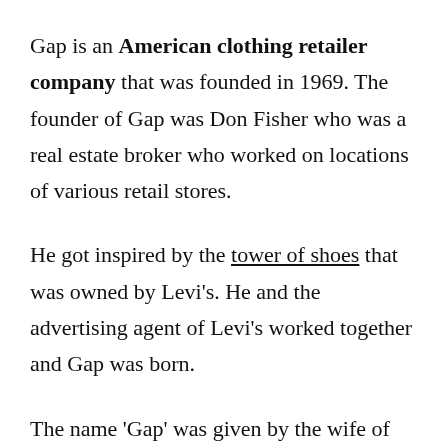Gap is an American clothing retailer company that was founded in 1969. The founder of Gap was Don Fisher who was a real estate broker who worked on locations of various retail stores.
He got inspired by the tower of shoes that was owned by Levi's. He and the advertising agent of Levi's worked together and Gap was born.
The name 'Gap' was given by the wife of Don Fisher. 'Gap' refers to the generation gap.